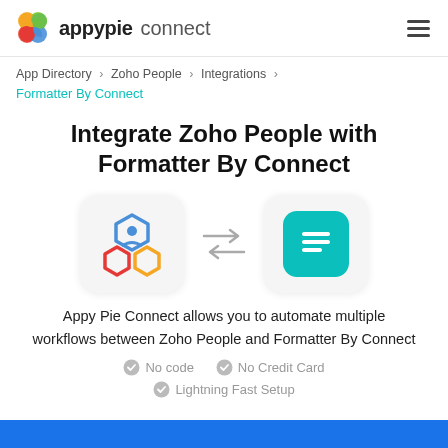appypie connect
App Directory > Zoho People > Integrations > Formatter By Connect
Integrate Zoho People with Formatter By Connect
[Figure (illustration): Zoho People logo icon (colorful hexagonal shape) and Formatter By Connect icon (teal square with document lines), connected by bidirectional arrows]
Appy Pie Connect allows you to automate multiple workflows between Zoho People and Formatter By Connect
No code   No Credit Card   Lightning Fast Setup